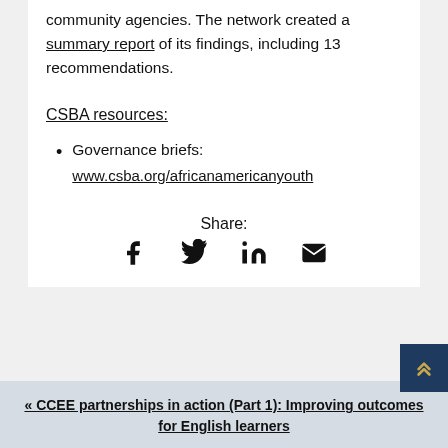community agencies. The network created a summary report of its findings, including 13 recommendations.
CSBA resources:
Governance briefs: www.csba.org/africanamericanyouth
Share:
[Figure (infographic): Social share icons: Facebook, Twitter, LinkedIn, Email]
« CCEE partnerships in action (Part 1): Improving outcomes for English learners